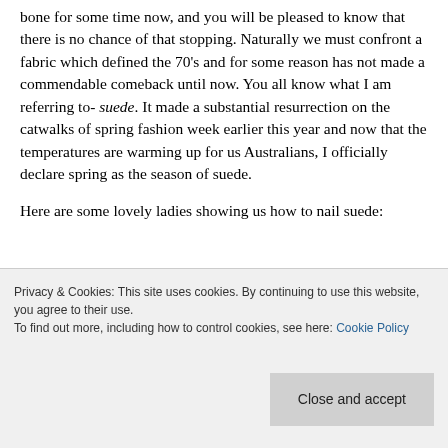bone for some time now, and you will be pleased to know that there is no chance of that stopping. Naturally we must confront a fabric which defined the 70's and for some reason has not made a commendable comeback until now. You all know what I am referring to- suede. It made a substantial resurrection on the catwalks of spring fashion week earlier this year and now that the temperatures are warming up for us Australians, I officially declare spring as the season of suede.
Here are some lovely ladies showing us how to nail suede:
[Figure (photo): Partial view of a fashion photo collage showing women in suede clothing, with dark teal and light neutral tones visible at the top of the image.]
Privacy & Cookies: This site uses cookies. By continuing to use this website, you agree to their use.
To find out more, including how to control cookies, see here: Cookie Policy
Close and accept